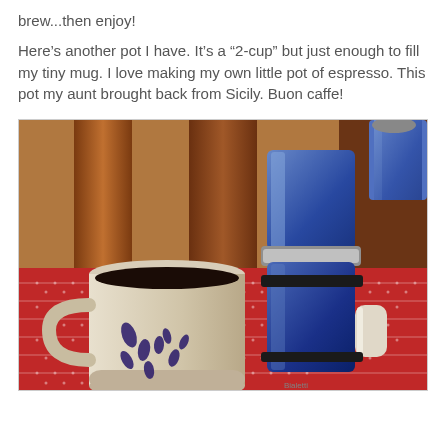brew...then enjoy!
Here’s another pot I have. It’s a “2-cup” but just enough to fill my tiny mug. I love making my own little pot of espresso. This pot my aunt brought back from Sicily. Buon caffe!
[Figure (photo): A ceramic mug with blue floral decoration filled with dark espresso coffee, next to a small blue Moka pot espresso maker, both sitting on a red patterned tablecloth, with wooden chairs visible in the background.]